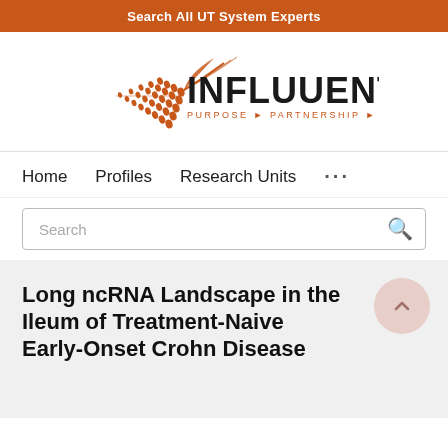Search All UT System Experts
[Figure (logo): Influuent logo — orange geometric triangular shape with dot pattern on left, dark text 'INFLUUENT' large, orange subtitle 'PURPOSE ► PARTNERSHIP ► PROGRESS']
Home   Profiles   Research Units   ...
Search
Long ncRNA Landscape in the Ileum of Treatment-Naive Early-Onset Crohn Disease